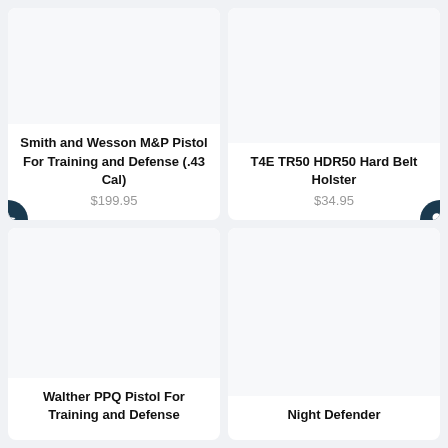[Figure (photo): Product image placeholder for Smith and Wesson M&P Pistol]
Smith and Wesson M&P Pistol For Training and Defense (.43 Cal)
$199.95
[Figure (photo): Product image placeholder for T4E TR50 HDR50 Hard Belt Holster]
T4E TR50 HDR50 Hard Belt Holster
$34.95
[Figure (photo): Product image placeholder for Walther PPQ Pistol]
Walther PPQ Pistol For Training and Defense
[Figure (photo): Product image placeholder for Night Defender]
Night Defender